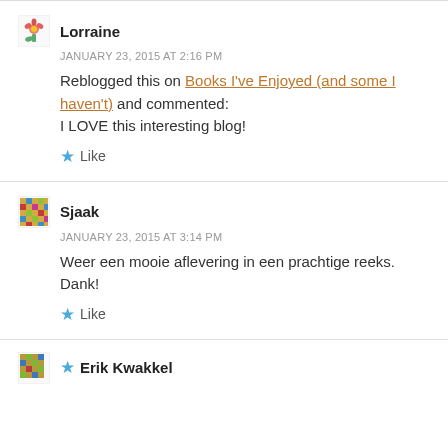Lorraine
JANUARY 23, 2015 AT 2:16 PM
Reblogged this on Books I've Enjoyed (and some I haven't) and commented:
I LOVE this interesting blog!
Like
Sjaak
JANUARY 23, 2015 AT 3:14 PM
Weer een mooie aflevering in een prachtige reeks. Dank!
Like
Erik Kwakkel